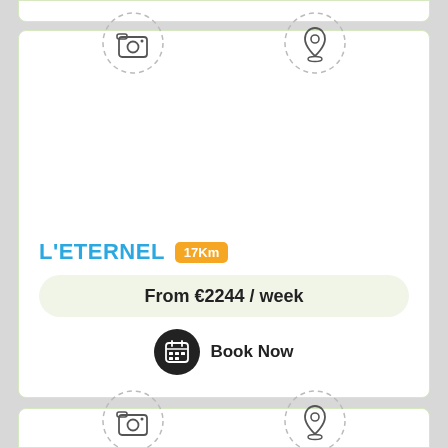[Figure (screenshot): Property listing card for L'ETERNEL showing camera and location icons, price from €2244 per week, and Book Now button]
L'ETERNEL
17Km
From €2244 / week
Book Now